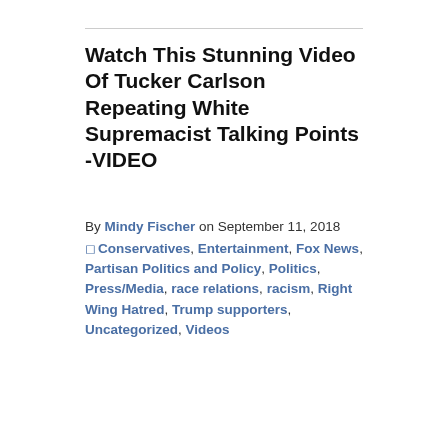Watch This Stunning Video Of Tucker Carlson Repeating White Supremacist Talking Points -VIDEO
By Mindy Fischer on September 11, 2018
Conservatives, Entertainment, Fox News, Partisan Politics and Policy, Politics, Press/Media, race relations, racism, Right Wing Hatred, Trump supporters, Uncategorized, Videos